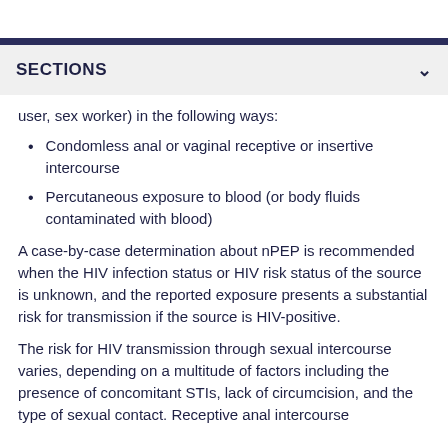SECTIONS
user, sex worker) in the following ways:
Condomless anal or vaginal receptive or insertive intercourse
Percutaneous exposure to blood (or body fluids contaminated with blood)
A case-by-case determination about nPEP is recommended when the HIV infection status or HIV risk status of the source is unknown, and the reported exposure presents a substantial risk for transmission if the source is HIV-positive.
The risk for HIV transmission through sexual intercourse varies, depending on a multitude of factors including the presence of concomitant STIs, lack of circumcision, and the type of sexual contact. Receptive anal intercourse